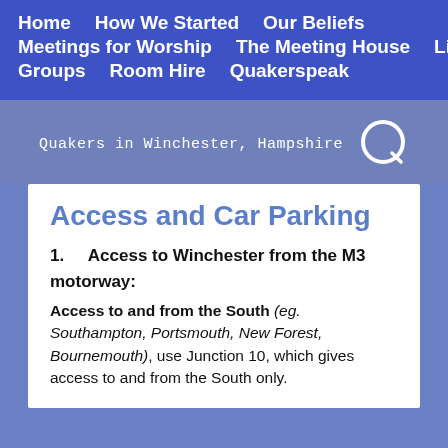Home  How We Started  Our Beliefs  Meetings for Worship  The Meeting House  Library  Groups  Room Hire  Quakerspeak
Quakers in Winchester, Hampshire
Access and Car Parking
1.  Access to Winchester from the M3 motorway:
Access to and from the South (eg. Southampton, Portsmouth, New Forest, Bournemouth), use Junction 10, which gives access to and from the South only.